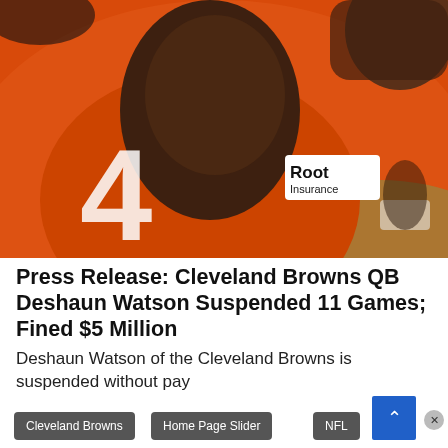[Figure (photo): Cleveland Browns QB Deshaun Watson wearing orange jersey number 4 with Root Insurance sponsor patch, looking toward camera at practice]
Press Release: Cleveland Browns QB Deshaun Watson Suspended 11 Games; Fined $5 Million
Deshaun Watson of the Cleveland Browns is suspended without pay
Cleveland Browns
Home Page Slider
NFL
Press Release